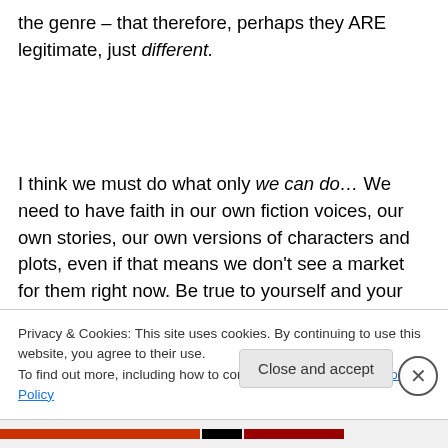the genre – that therefore, perhaps they ARE legitimate, just different.
I think we must do what only we can do… We need to have faith in our own fiction voices, our own stories, our own versions of characters and plots, even if that means we don't see a market for them right now. Be true to yourself and your Muse.  Don't let the mirage of fame and
Privacy & Cookies: This site uses cookies. By continuing to use this website, you agree to their use.
To find out more, including how to control cookies, see here: Cookie Policy